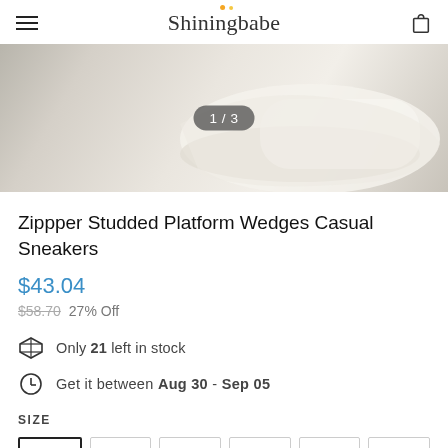Shiningbabe
[Figure (photo): Close-up photo of white platform sneakers on a concrete surface, image counter showing 1/3]
Zippper Studded Platform Wedges Casual Sneakers
$43.04
$58.70  27% Off
Only 21 left in stock
Get it between Aug 30 - Sep 05
SIZE
US4.5  US5.5  US6  US7  US8  US8.5